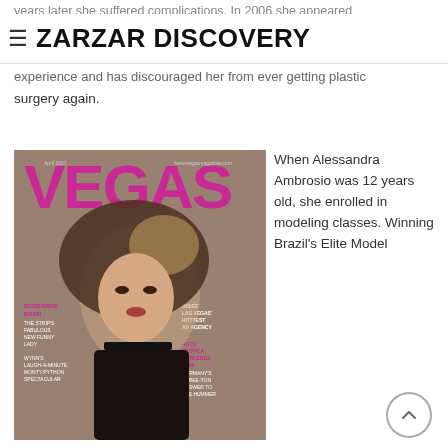≡ ZARZAR DISCOVERY
years later she suffered complications. In 2006 she appeared The [text obscured by header] a bad experience and has discouraged her from ever getting plastic surgery again.
[Figure (photo): Magazine cover of VEGAS magazine featuring a woman with voluminous brunette hair. Cover lines include: ROSEANNE BARR - THE STRIP'S FABULOUS NEW FUNNY LADY, WYNN'S LAUGH-A-MINUTE MONTY PYTHON SPECTACULAR, INSIDE LAS VEGAS' HOTTEST AD AGENCY, AUTO EXOTICA: MERCEDES G500 GERMANY'S THREE-TON ANSWER TO THE HUMMER]
When Alessandra Ambrosio was 12 years old, she enrolled in modeling classes. Winning Brazil's Elite Model